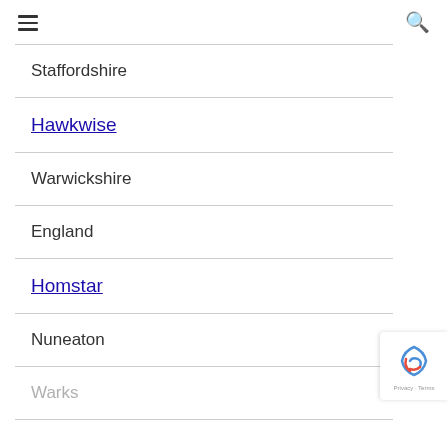≡ 🔍
Staffordshire
Hawkwise
Warwickshire
England
Homstar
Nuneaton
Warks